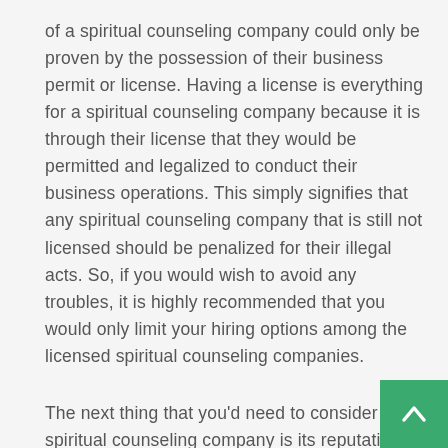of a spiritual counseling company could only be proven by the possession of their business permit or license. Having a license is everything for a spiritual counseling company because it is through their license that they would be permitted and legalized to conduct their business operations. This simply signifies that any spiritual counseling company that is still not licensed should be penalized for their illegal acts. So, if you would wish to avoid any troubles, it is highly recommended that you would only limit your hiring options among the licensed spiritual counseling companies.
The next thing that you'd need to consider a spiritual counseling company is its reputation. The public tru... that the company receives plays a lot of roles in determining their reputation. Of course, the best spiritual counseling company should be well-reputed